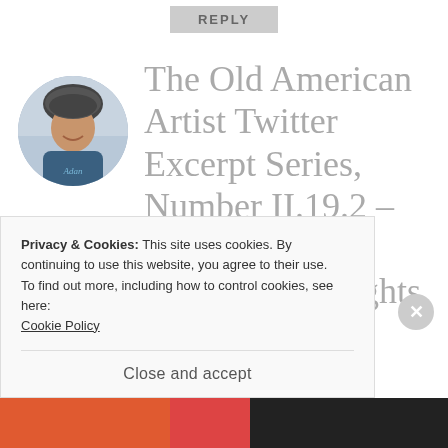REPLY
[Figure (photo): Circular profile photo of a person wearing a bicycle helmet, smiling, with a waterfront background. The name 'Adan' appears on clothing.]
The Old American Artist Twitter Excerpt Series, Number II.19.2 – © Felipe Adan Lerma – All Rights Reserved
Privacy & Cookies: This site uses cookies. By continuing to use this website, you agree to their use.
To find out more, including how to control cookies, see here: Cookie Policy
Close and accept